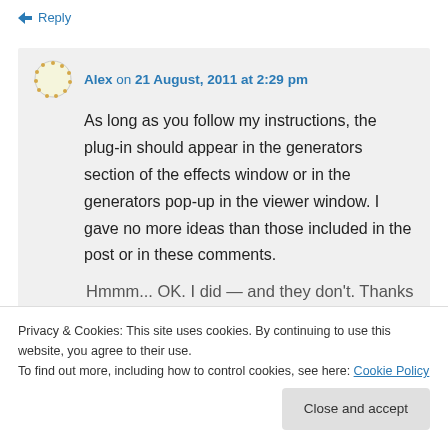↳ Reply
Alex on 21 August, 2011 at 2:29 pm
As long as you follow my instructions, the plug-in should appear in the generators section of the effects window or in the generators pop-up in the viewer window. I gave no more ideas than those included in the post or in these comments.
Hmmm... OK. I did — and they don't. Thanks
Privacy & Cookies: This site uses cookies. By continuing to use this website, you agree to their use.
To find out more, including how to control cookies, see here: Cookie Policy
Close and accept